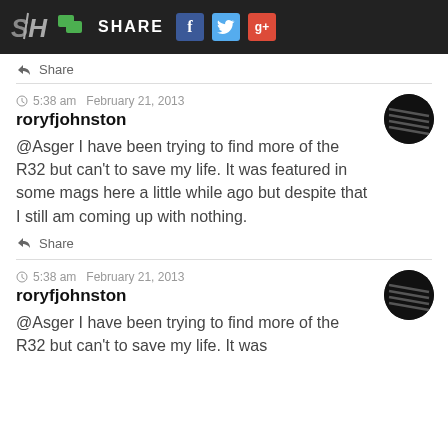SH | SHARE | f | Twitter | g+
Share
5:38 am  February 21, 2013
roryfjohnston
@Asger I have been trying to find more of the R32 but can't to save my life.  It was featured in some mags here a little while ago but despite that I still am coming up with nothing.
Share
5:38 am  February 21, 2013
roryfjohnston
@Asger I have been trying to find more of the R32 but can't to save my life.  It was